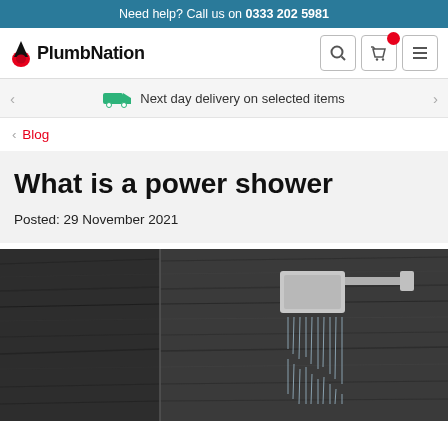Need help? Call us on 0333 202 5981
[Figure (logo): PlumbNation logo with red water drop icon]
Next day delivery on selected items
< Blog
What is a power shower
Posted: 29 November 2021
[Figure (photo): A chrome square rain shower head mounted on a wall arm, water falling, against dark wood-effect tile background]